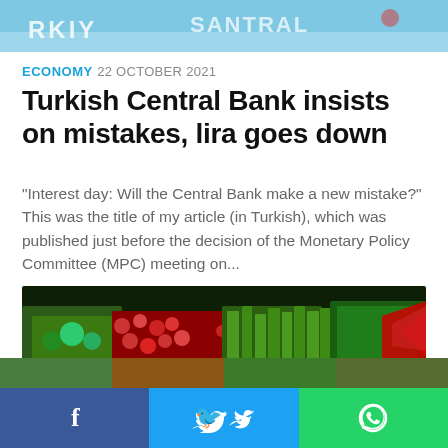[Figure (photo): Partial banner image at top showing text 'TURKIYE' or similar with blue and white colors, appears to be Turkish flag or banner]
ECONOMY 22 OCTOBER 2021
Turkish Central Bank insists on mistakes, lira goes down
“Interest day: Will the Central Bank make a new mistake?” This was the title of my article (in Turkish), which was published just before the decision of the Monetary Policy Committee (MPC) meeting on...
[Figure (photo): Market stall with fresh vegetables and produce including tomatoes, green beans, lettuce and other vegetables, with a red downward arrow graphic overlay suggesting economic decline]
[Figure (photo): Bottom strip showing partial images, social sharing bar with Facebook, Twitter and WhatsApp buttons]